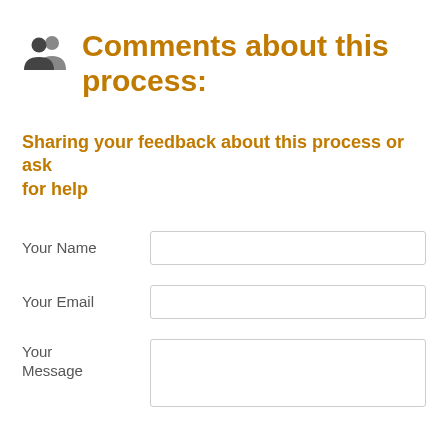Comments about this process:
Sharing your feedback about this process or ask for help
Your Name
Your Email
Your Message